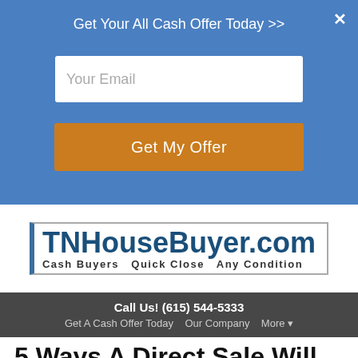Get Your All Cash Offer Today >>
[Figure (screenshot): Email input field with placeholder text 'Your Email']
[Figure (screenshot): Orange button labeled 'Get My Offer']
[Figure (logo): TNHouseBuyer.com logo with tagline 'Cash Buyers  Quick Close  Any Condition']
Call Us! (615) 544-5333
Get A Cash Offer Today   Our Company   More ▾
5 Ways A Direct Sale Will Save You Money